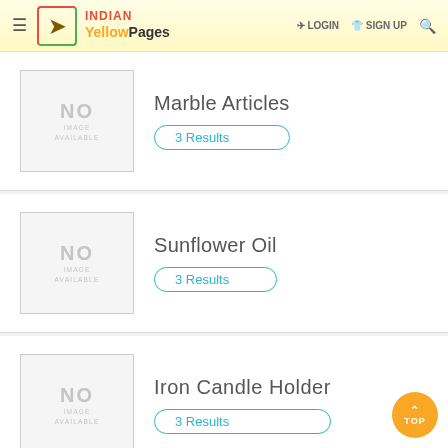INDIAN Yellow Pages | LOGIN | SIGN UP
[Figure (other): No image available placeholder for Marble Articles]
Marble Articles
3 Results
[Figure (other): No image available placeholder for Sunflower Oil]
Sunflower Oil
3 Results
[Figure (other): No image available placeholder for Iron Candle Holder]
Iron Candle Holder
3 Results